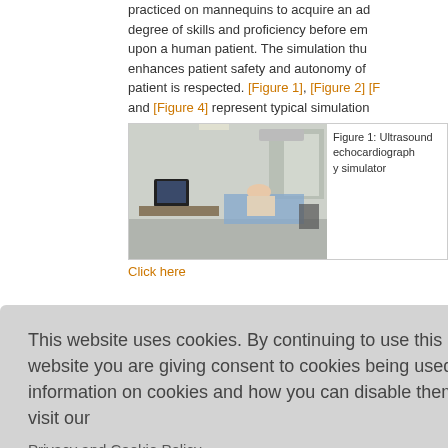practiced on mannequins to acquire an adequate degree of skills and proficiency before embarking upon a human patient. The simulation thus enhances patient safety and autonomy of the patient is respected. [Figure 1], [Figure 2] [Figure 3] and [Figure 4] represent typical simulation...
[Figure (photo): Photo of a medical simulation room with mannequins on a table, a computer monitor, and medical equipment.]
Figure 1: Ultrasound echocardiography simulator
Click here...
This website uses cookies. By continuing to use this website you are giving consent to cookies being used. For information on cookies and how you can disable them visit our
Privacy and Cookie Policy.
AGREE & PROCEED